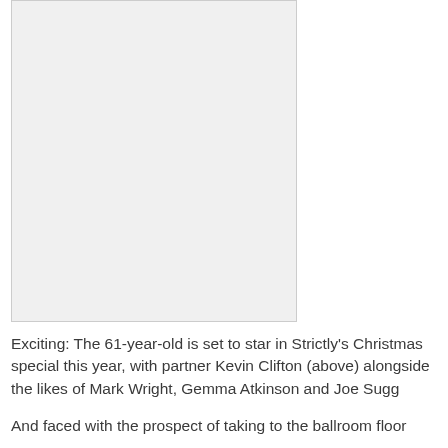[Figure (photo): A photograph placeholder (white/light grey rectangle) showing a person, referenced as Kevin Clifton above in the caption.]
Exciting: The 61-year-old is set to star in Strictly’s Christmas special this year, with partner Kevin Clifton (above) alongside the likes of Mark Wright, Gemma Atkinson and Joe Sugg
And faced with the prospect of taking to the ballroom floor